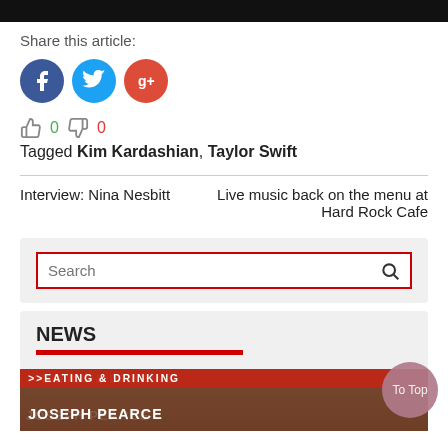[Figure (other): Black bar at top of page]
Share this article:
[Figure (infographic): Social share icons: Facebook (blue circle with f), Twitter (light blue circle with bird), Google+ (red circle with g+)]
👍 0  👎 0
Tagged Kim Kardashian, Taylor Swift
Interview: Nina Nesbitt
Live music back on the menu at Hard Rock Cafe
[Figure (screenshot): Search input box with red border and magnifying glass icon]
NEWS
[Figure (photo): News section image showing eating and drinking sign and Joseph Pearce text]